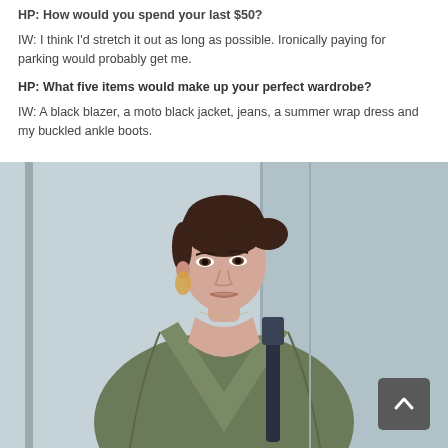HP: How would you spend your last $50?
IW: I think I'd stretch it out as long as possible. Ironically paying for parking would probably get me.
HP: What five items would make up your perfect wardrobe?
IW: A black blazer, a moto black jacket, jeans, a summer wrap dress and my buckled ankle boots.
[Figure (photo): A woman with dark hair in a bun, wearing an olive/khaki deep-V wrap top and carrying a dark bag strap over her shoulder, photographed outdoors against a light blue-grey wall background.]